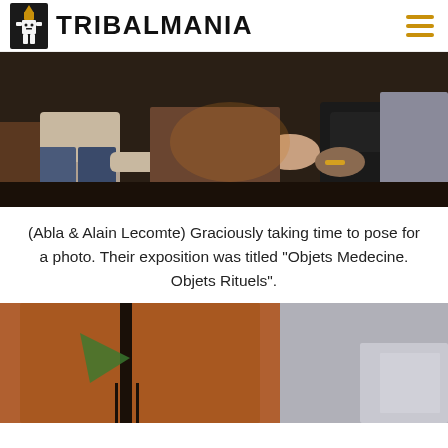TRIBALMANIA
[Figure (photo): Two people seated, viewed from waist down, appearing to shake hands or interact, dark indoor setting]
(Abla & Alain Lecomte)  Graciously taking time to pose for a photo.  Their exposition was titled "Objets Medecine. Objets Rituels".
[Figure (photo): Close-up of a tribal or ethnographic object, brown leather or hide with a black stripe/line element and green accent, against a grey background]